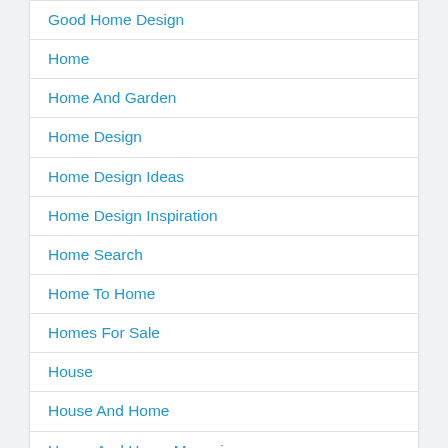Good Home Design
Home
Home And Garden
Home Design
Home Design Ideas
Home Design Inspiration
Home Search
Home To Home
Homes For Sale
House
House And Home
House And Home Magazine
House For Sale